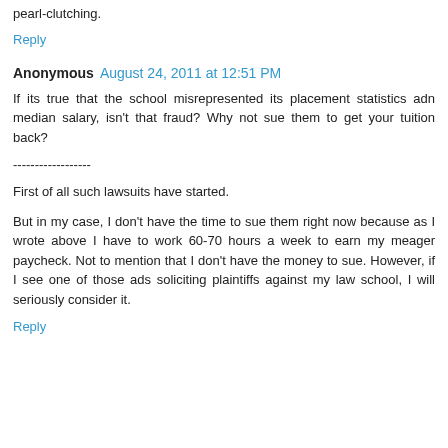pearl-clutching.
Reply
Anonymous August 24, 2011 at 12:51 PM
If its true that the school misrepresented its placement statistics adn median salary, isn't that fraud? Why not sue them to get your tuition back?
------------------
First of all such lawsuits have started.
But in my case, I don't have the time to sue them right now because as I wrote above I have to work 60-70 hours a week to earn my meager paycheck. Not to mention that I don't have the money to sue. However, if I see one of those ads soliciting plaintiffs against my law school, I will seriously consider it.
Reply